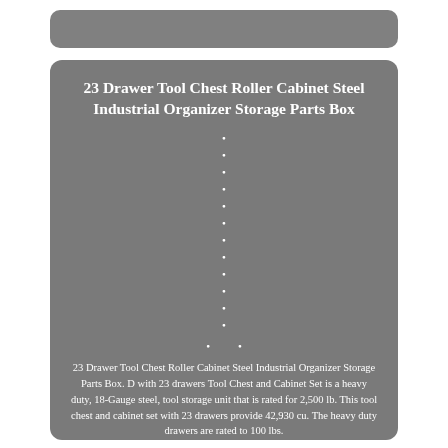23 Drawer Tool Chest Roller Cabinet Steel Industrial Organizer Storage Parts Box
23 Drawer Tool Chest Roller Cabinet Steel Industrial Organizer Storage Parts Box. D with 23 drawers Tool Chest and Cabinet Set is a heavy duty, 18-Gauge steel, tool storage unit that is rated for 2,500 lb. This tool chest and cabinet set with 23 drawers provide 42,930 cu. The heavy duty drawers are rated to 100 lbs.